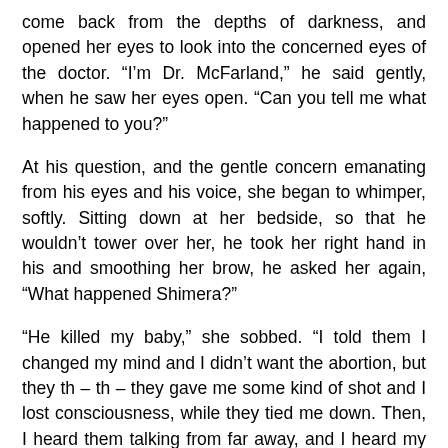come back from the depths of darkness, and opened her eyes to look into the concerned eyes of the doctor. “I’m Dr. McFarland,” he said gently, when he saw her eyes open. “Can you tell me what happened to you?”
At his question, and the gentle concern emanating from his eyes and his voice, she began to whimper, softly. Sitting down at her bedside, so that he wouldn’t tower over her, he took her right hand in his and smoothing her brow, he asked her again, “What happened Shimera?”
“He killed my baby,” she sobbed. “I told them I changed my mind and I didn’t want the abortion, but they th – th – they gave me some kind of shot and I lost consciousness, while they tied me down. Then, I heard them talking from far away, and I heard my baby cry, and I – I tried to open my eyes,” she began weeping inconsolably as she continued through her tears, “a – an – and then I heard a snap, like bones were breaking, and she – she st – st – stopped c – crying. And I – I opened my eyes, and